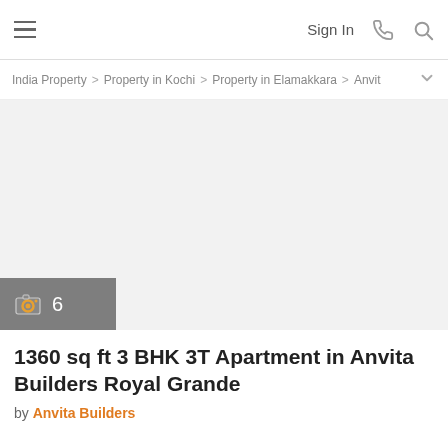Sign In
India Property > Property in Kochi > Property in Elamakkara > Anvit
[Figure (photo): Property listing photo area, light gray background, showing apartment interior or exterior (image not loaded)]
1360 sq ft 3 BHK 3T Apartment in Anvita Builders Royal Grande
by Anvita Builders